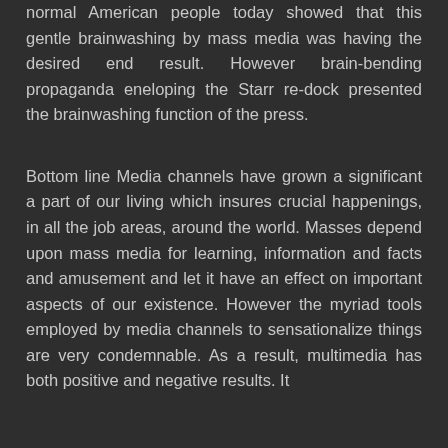normal American people today showed that this gentle brainwashing by mass media was having the desired end result. However brain-bending propaganda eneloping the Starr re-dock presented the brainwashing function of the press.
Bottom line Media channels have grown a significant a part of our living which insures crucial happenings, in all the job areas, around the world. Masses depend upon mass media for learning, information and facts and amusement and let it have an effect on important aspects of our existence. However the myriad tools employed by media channels to sensationalize things are very condemnable. As a result, multimedia has both positive and negative results. It